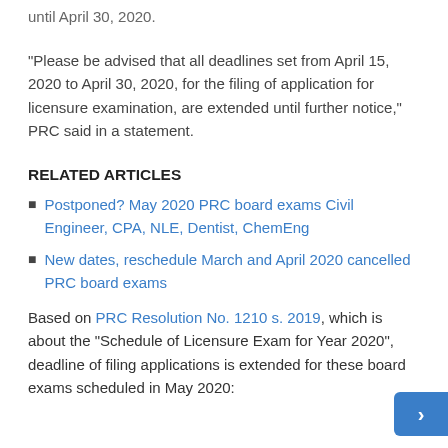until April 30, 2020.
"Please be advised that all deadlines set from April 15, 2020 to April 30, 2020, for the filing of application for licensure examination, are extended until further notice," PRC said in a statement.
RELATED ARTICLES
Postponed? May 2020 PRC board exams Civil Engineer, CPA, NLE, Dentist, ChemEng
New dates, reschedule March and April 2020 cancelled PRC board exams
Based on PRC Resolution No. 1210 s. 2019, which is about the "Schedule of Licensure Exam for Year 2020", deadline of filing applications is extended for these board exams scheduled in May 2020: